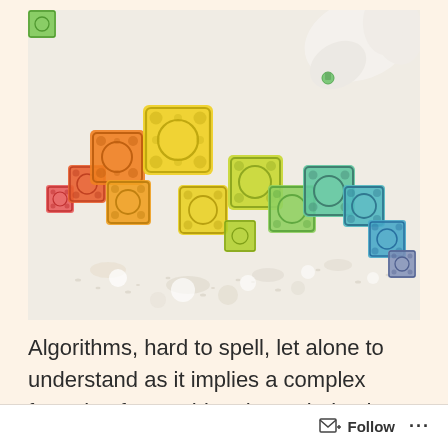[Figure (photo): Colorful 3D printed lattice cubes arranged in a rainbow arc from red/orange on the left to teal/blue on the right, scattered on a white surface with small particles, with a gloved hand visible in the upper right holding a small object.]
Algorithms, hard to spell, let alone to understand as it implies a complex formula of something the majority do not
Follow ···